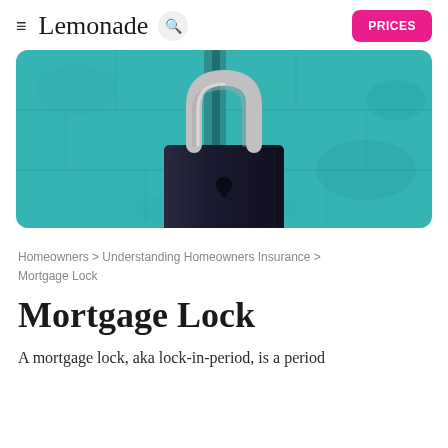≡ Lemonade 🔍 PRICES
[Figure (photo): Close-up photo of a padlock on a teal/turquoise painted wall, the lock is dark navy/black with silver shackle]
Homeowners > Understanding Homeowners Insurance > Mortgage Lock
Mortgage Lock
A mortgage lock, aka lock-in-period, is a period